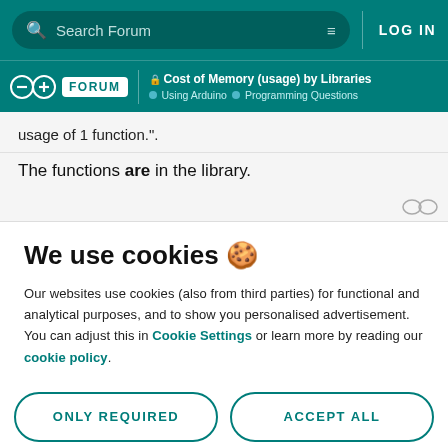Search Forum | LOG IN
Arduino FORUM | Cost of Memory (usage) by Libraries | Using Arduino > Programming Questions
usage of 1 function.".
The functions are in the library.
We use cookies 🍪
Our websites use cookies (also from third parties) for functional and analytical purposes, and to show you personalised advertisement. You can adjust this in Cookie Settings or learn more by reading our cookie policy.
ONLY REQUIRED
ACCEPT ALL